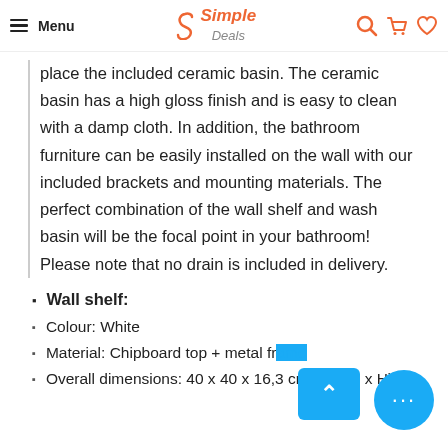Menu | Simple Deals | [search] [cart] [wishlist]
place the included ceramic basin. The ceramic basin has a high gloss finish and is easy to clean with a damp cloth. In addition, the bathroom furniture can be easily installed on the wall with our included brackets and mounting materials. The perfect combination of the wall shelf and wash basin will be the focal point in your bathroom! Please note that no drain is included in delivery.
Wall shelf:
Colour: White
Material: Chipboard top + metal frame
Overall dimensions: 40 x 40 x 16,3 cm (W x D x H)